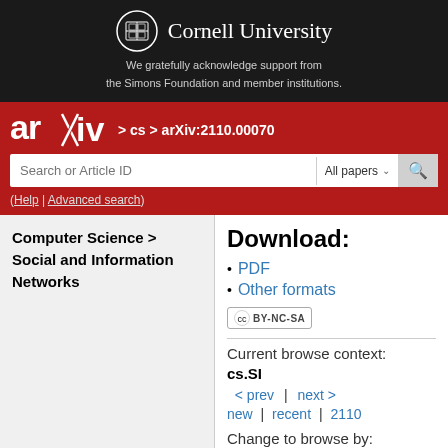[Figure (logo): Cornell University shield logo and wordmark on dark background]
We gratefully acknowledge support from the Simons Foundation and member institutions.
[Figure (logo): arXiv logo on red background with navigation: > cs > arXiv:2110.00070]
(Help | Advanced search)
Computer Science > Social and Information Networks
Download:
PDF
Other formats
[Figure (logo): Creative Commons BY-NC-SA license badge]
Current browse context:
cs.SI
< prev | next >
new | recent | 2110
Change to browse by:
cs